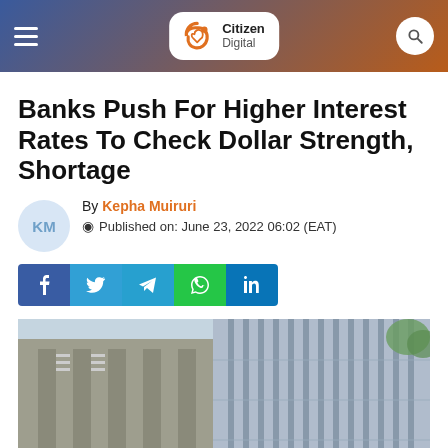Citizen Digital
Banks Push For Higher Interest Rates To Check Dollar Strength, Shortage
By Kepha Muiruri
Published on: June 23, 2022 06:02 (EAT)
[Figure (other): Social media share buttons: Facebook, Twitter, Telegram, WhatsApp, LinkedIn]
[Figure (photo): Low-angle photo of a concrete bank or government building exterior with columns and vertical window slats]